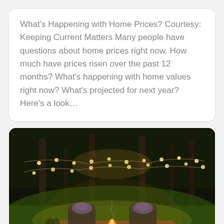What's Happening with Home Prices? Courtesy: Keeping Current Matters Many people have questions about home prices right now. How much have prices risen over the past 12 months? What's happening with home values right now? What's projected for next year? Here's a look…
[Figure (photo): Outdoor evening scene on a wooden deck with two chairs with blankets, a fire pit bowl with flames, string lights hanging between trees, green grass in background, warm golden ambiance]